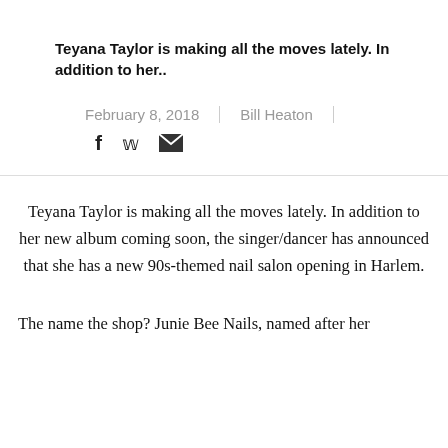Teyana Taylor is making all the moves lately. In addition to her..
February 8, 2018 | Bill Heaton
Teyana Taylor is making all the moves lately. In addition to her new album coming soon, the singer/dancer has announced that she has a new 90s-themed nail salon opening in Harlem.
The name the shop? Junie Bee Nails, named after her